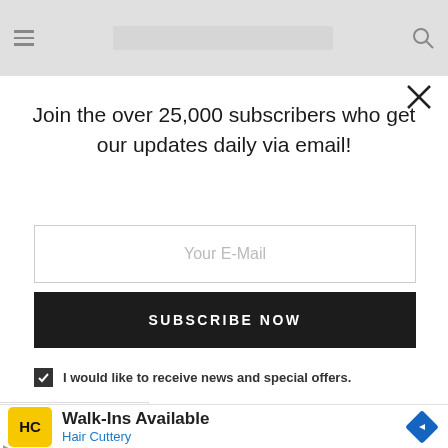[Navigation bar with hamburger menu and search icon]
Join the over 25,000 subscribers who get our updates daily via email!
Your E-Mail
SUBSCRIBE NOW
I would like to receive news and special offers.
[Figure (screenshot): Advertisement banner for Hair Cuttery: Walk-Ins Available with HC logo and navigation arrow icon]